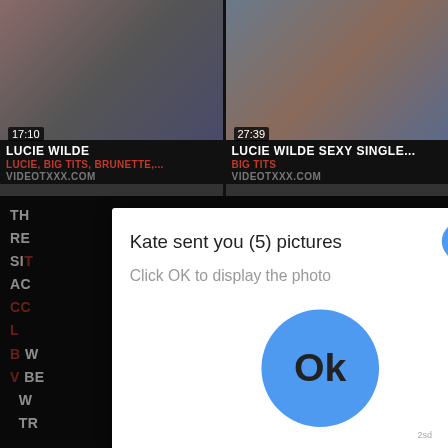[Figure (screenshot): Video thumbnail left: Lucie Wilde, duration 17:10]
LUCIE WILDE
LUCIE, BIG TITS, BRUNETTE,...
VIDEOTXXX.COM
[Figure (screenshot): Video thumbnail right: Lucie Wilde Sexy Single..., duration 27:39]
LUCIE WILDE SEXY SINGLE...
BIG TITS
VIDEOTXXX.COM
[Figure (screenshot): Popup dialog: Kate sent you (5) pictures. Click OK to display the photo. Large blue Ok button in center.]